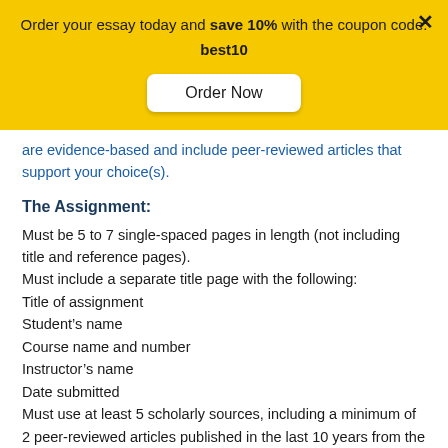Order your essay today and save 10% with the coupon code: best10
Order Now
are evidence-based and include peer-reviewed articles that support your choice(s).
The Assignment:
Must be 5 to 7 single-spaced pages in length (not including title and reference pages).
Must include a separate title page with the following:
Title of assignment
Student’s name
Course name and number
Instructor’s name
Date submitted
Must use at least 5 scholarly sources, including a minimum of 2 peer-reviewed articles published in the last 10 years from the Ashford University Library.